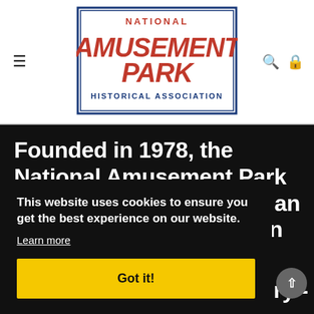[Figure (logo): National Amusement Park Historical Association logo with red and blue stylized text]
Founded in 1978, the National Amusement Park Historical Association is an international organization dedicated to the preservation, documentation, and enjoyment of the amusement park industry -
This website uses cookies to ensure you get the best experience on our website. Learn more
Got it!